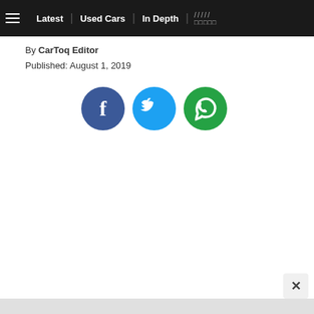≡  Latest | Used Cars | In Depth | ///// □□□□□
By CarToq Editor
Published: August 1, 2019
[Figure (infographic): Three social media share buttons: Facebook (dark blue circle with 'f'), Twitter (light blue circle with bird icon), WhatsApp (green circle with speech bubble icon)]